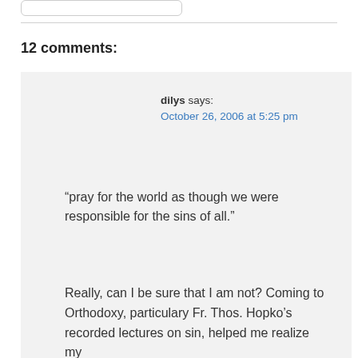12 comments:
dilys says:
October 26, 2006 at 5:25 pm
“pray for the world as though we were responsible for the sins of all.”
Really, can I be sure that I am not? Coming to Orthodoxy, particulary Fr. Thos. Hopko’s recorded lectures on sin, helped me realize my